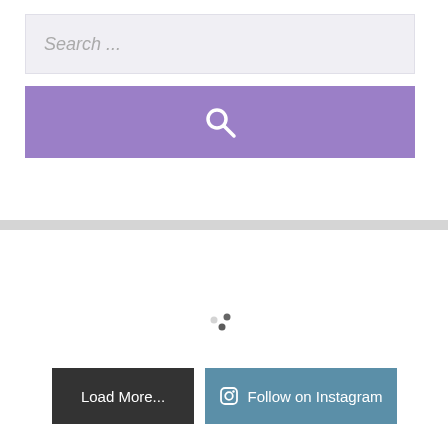Search ...
[Figure (screenshot): Purple search button with magnifying glass icon]
[Figure (screenshot): Instagram widget area with loading spinner dots, Load More button (dark gray) and Follow on Instagram button (steel blue)]
[Figure (photo): Close-up portrait photo of a person with dark brown hair, flower decoration visible in background]